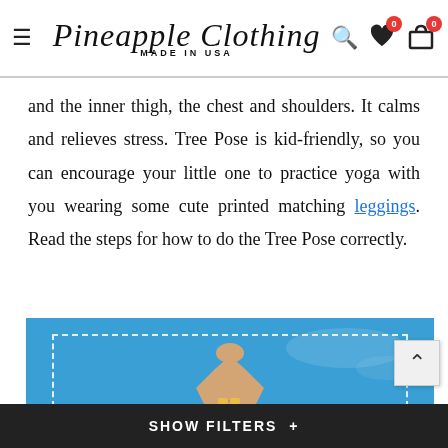Pineapple Clothing — MADE IN USA
and the inner thigh, the chest and shoulders. It calms and relieves stress. Tree Pose is kid-friendly, so you can encourage your little one to practice yoga with you wearing some cute printed matching leggings. Read the steps for how to do the Tree Pose correctly.
[Figure (photo): Person doing Tree Pose yoga with hands raised above head against a bright blue sky background, wearing sunglasses. Image has a dashed white border overlay.]
SHOW FILTERS +